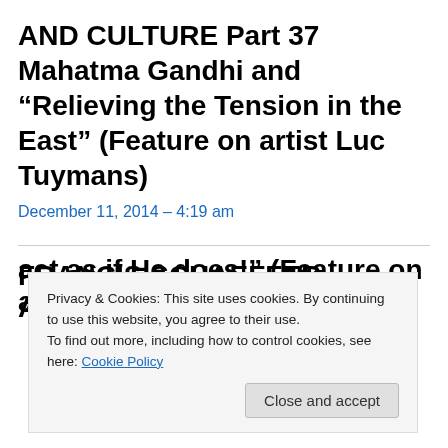AND CULTURE Part 37 Mahatma Gandhi and “Relieving the Tension in the East” (Feature on artist Luc Tuymans)
December 11, 2014 – 4:19 am
FRANCIS SCHAEFFER ANALYZES ART
Privacy & Cookies: This site uses cookies. By continuing to use this website, you agree to their use. To find out more, including how to control cookies, see here: Cookie Policy
Close and accept
act as if He does!" (Feature on artist